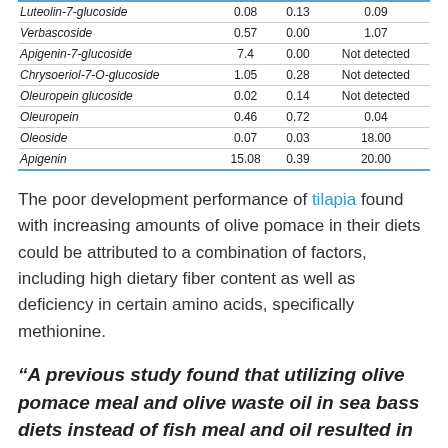|  |  |  |  |
| --- | --- | --- | --- |
| Luteolin-7-glucoside | 0.08 | 0.13 | 0.09 |
| Verbascoside | 0.57 | 0.00 | 1.07 |
| Apigenin-7-glucoside | 7.4 | 0.00 | Not detected |
| Chrysoeriol-7-O-glucoside | 1.05 | 0.28 | Not detected |
| Oleuropein glucoside | 0.02 | 0.14 | Not detected |
| Oleuropein | 0.46 | 0.72 | 0.04 |
| Oleoside | 0.07 | 0.03 | 18.00 |
| Apigenin | 15.08 | 0.39 | 20.00 |
The poor development performance of tilapia found with increasing amounts of olive pomace in their diets could be attributed to a combination of factors, including high dietary fiber content as well as deficiency in certain amino acids, specifically methionine.
“A previous study found that utilizing olive pomace meal and olive waste oil in sea bass diets instead of fish meal and oil resulted in significantly lower feed conversion ratios (FCR) and lowered